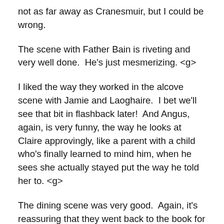not as far away as Cranesmuir, but I could be wrong.
The scene with Father Bain is riveting and very well done.  He's just mesmerizing. <g>
I liked the way they worked in the alcove scene with Jamie and Laoghaire.  I bet we'll see that bit in flashback later!  And Angus, again, is very funny, the way he looks at Claire approvingly, like a parent with a child who's finally learned to mind him, when he sees she actually stayed put the way he told her to. <g>
The dining scene was very good.  Again, it's reassuring that they went back to the book for this scene, with only minor changes.  I thought it was fine for Murtagh to be the one speaking to Claire (rather than Old Alec, as it is in the book).  We really haven't seen Murtagh interact with her much so far, and this scene helps to make it clearer for the viewers, I think, that Murtagh is always looking out for Jamie's best interests.